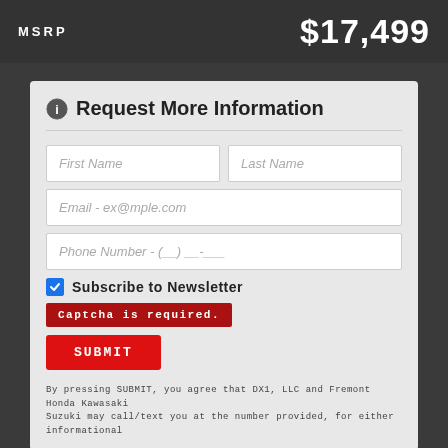MSRP
$17,499
Request More Information
First Name
Last Name
Email - ex@mple.com
Phone Number - (__) __-___
Subscribe to Newsletter
Captcha is required.
SUBMIT
By pressing SUBMIT, you agree that DX1, LLC and Fremont Honda Kawasaki Suzuki may call/text you at the number provided, for either informational